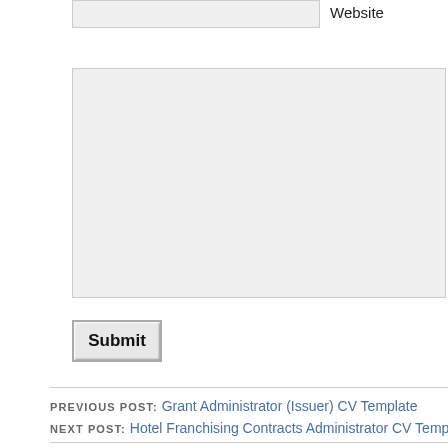Website
[Figure (screenshot): A greyed-out text input field (top, partial) and a large grey textarea form field below it]
Submit
PREVIOUS POST: Grant Administrator (Issuer) CV Template
NEXT POST: Hotel Franchising Contracts Administrator CV Template